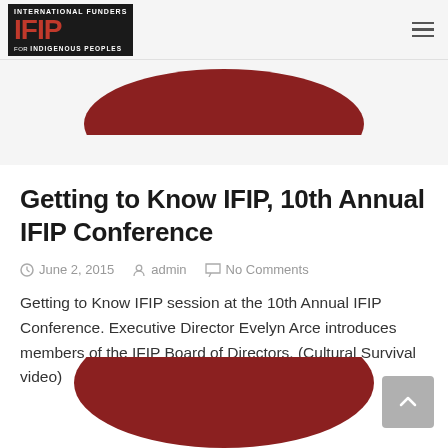INTERNATIONAL FUNDERS IFIP FOR INDIGENOUS PEOPLES
[Figure (illustration): Dark red semi-circle visible at top of page, cropped]
Getting to Know IFIP, 10th Annual IFIP Conference
June 2, 2015   admin   No Comments
Getting to Know IFIP session at the 10th Annual IFIP Conference. Executive Director Evelyn Arce introduces members of the IFIP Board of Directors. (Cultural Survival video)
[Figure (illustration): Dark red circle partially visible at bottom of page, cropped]